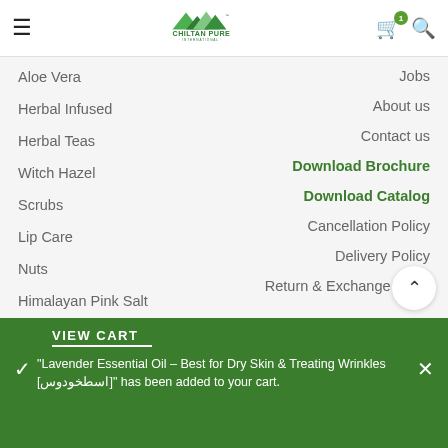[Figure (logo): Chiltan Pure International logo with mountain graphic and green text]
Aloe Vera
Jobs
Herbal Infused
About us
Herbal Teas
Contact us
Witch Hazel
Download Brochure
Scrubs
Download Catalog
Lip Care
Cancellation Policy
Nuts
Delivery Policy
Himalayan Pink Salt
Return & Exchange Policy
Hair Care
VIEW CART
"Lavender Essential Oil – Best for Dry Skin & Treating Wrinkles [اسطخودوس]" has been added to your cart.